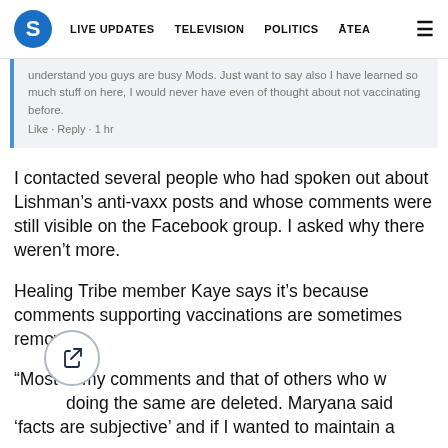S  LIVE UPDATES  TELEVISION  POLITICS  ĀTEA  ☰
[Figure (screenshot): Partial Facebook comment screenshot showing text: 'understand you guys are busy Mods. Just want to say also I have learned so much stuff on here, I would never have even of thought about not vaccinating before.' with Like · Reply · 1 hr]
I contacted several people who had spoken out about Lishman's anti-vaxx posts and whose comments were still visible on the Facebook group. I asked why there weren't more.
Healing Tribe member Kaye says it's because comments supporting vaccinations are sometimes removed.
“Most of my comments and that of others who were doing the same are deleted. Maryana said 'facts are subjective' and if I wanted to maintain a